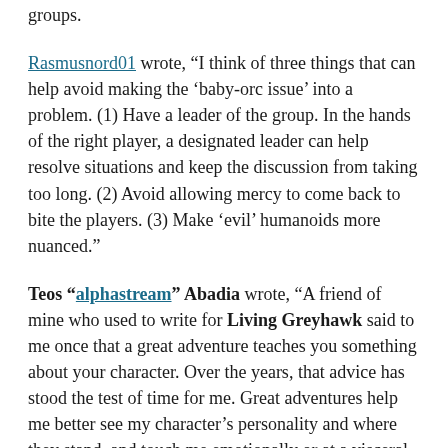groups.
Rasmusnord01 wrote, “I think of three things that can help avoid making the ‘baby-orc issue’ into a problem. (1) Have a leader of the group. In the hands of the right player, a designated leader can help resolve situations and keep the discussion from taking too long. (2) Avoid allowing mercy to come back to bite the players. (3) Make ‘evil’ humanoids more nuanced.”
Teos “alphastream” Abadia wrote, “A friend of mine who used to write for Living Greyhawk said to me once that a great adventure teaches you something about your character. Over the years, that advice has stood the test of time for me. Great adventures help me better see my character’s personality and where they stand, and touch me emotionally or at a visceral level in some way.
“Since that time, I’ve tried to write adventures where